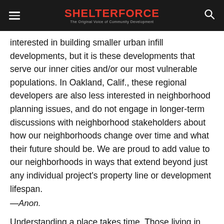SHELTERFORCE — The Original Voice of Community Development
interested in building smaller urban infill developments, but it is these developments that serve our inner cities and/or our most vulnerable populations. In Oakland, Calif., these regional developers are also less interested in neighborhood planning issues, and do not engage in longer-term discussions with neighborhood stakeholders about how our neighborhoods change over time and what their future should be. We are proud to add value to our neighborhoods in ways that extend beyond just any individual project's property line or development lifespan.
—Anon.
Understanding a place takes time. Those living in the neighborhood are best suited to understand what is important to the people. In the long run, they will be there to